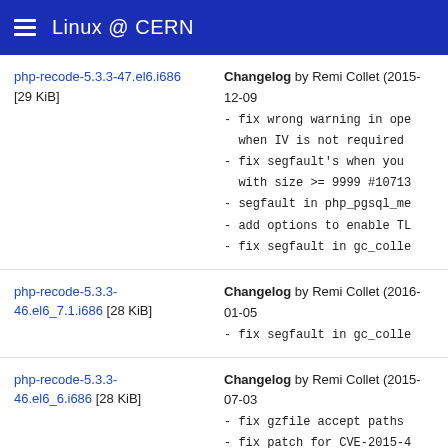Linux @ CERN
php-recode-5.3.3-47.el6.i686 [29 KiB] Changelog by Remi Collet (2015-12-09 - fix wrong warning in ope when IV is not required - fix segfault's when you with size >= 9999 #10713 - segfault in php_pgsql_me - add options to enable TL - fix segfault in gc_colle
php-recode-5.3.3-46.el6_7.1.i686 [28 KiB] Changelog by Remi Collet (2016-01-05 - fix segfault in gc_colle
php-recode-5.3.3-46.el6_6.i686 [28 KiB] Changelog by Remi Collet (2015-07-03 - fix gzfile accept paths - fix patch for CVE-2015-4
php-recode-5.3.3-40.el6_6.i686 [27 KiB] Changelog by Jan Kaluza (2014-10-23 - fileinfo: fix out-of-bou